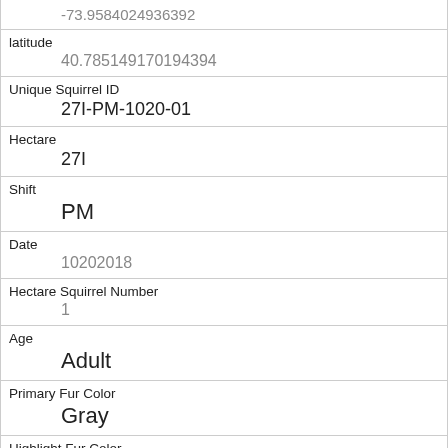| -73.9584024936392 |
| latitude | 40.785149170194394 |
| Unique Squirrel ID | 27I-PM-1020-01 |
| Hectare | 27I |
| Shift | PM |
| Date | 10202018 |
| Hectare Squirrel Number | 1 |
| Age | Adult |
| Primary Fur Color | Gray |
| Highlight Fur Color | White |
| Combination of Primary and Highlight Color |  |